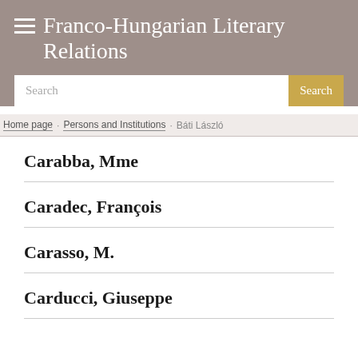Franco-Hungarian Literary Relations
Search
Home page / Persons and Institutions / Báti László
Carabba, Mme
Caradec, François
Carasso, M.
Carducci, Giuseppe